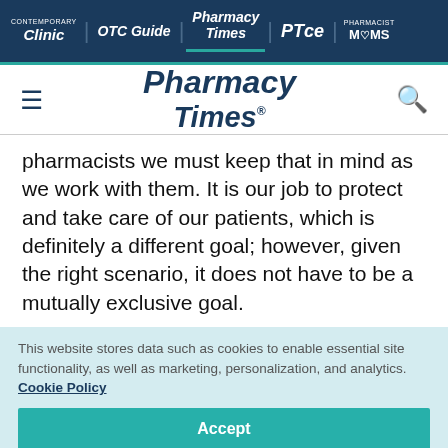[Figure (screenshot): Website top navigation bar with links: Contemporary Clinic, OTC Guide, Pharmacy Times (active/highlighted), PTce, Pharmacist Moms]
[Figure (logo): Pharmacy Times logo with hamburger menu icon on left and search icon on right]
pharmacists we must keep that in mind as we work with them. It is our job to protect and take care of our patients, which is definitely a different goal; however, given the right scenario, it does not have to be a mutually exclusive goal.
This website stores data such as cookies to enable essential site functionality, as well as marketing, personalization, and analytics. Cookie Policy
Accept
Deny